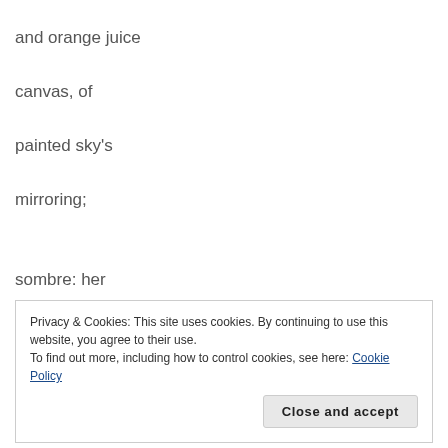and orange juice
canvas, of
painted sky's
mirroring;
sombre: her
Privacy & Cookies: This site uses cookies. By continuing to use this website, you agree to their use. To find out more, including how to control cookies, see here: Cookie Policy
Close and accept